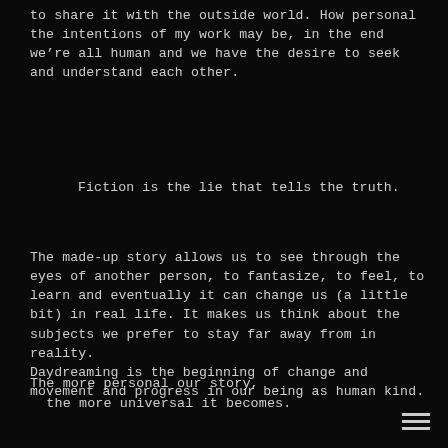to share it with the outside world. How personal the intentions of my work may be, in the end we’re all human and we have the desire to seek and understand each other.
Fiction is the lie that tells the truth.
The made-up story allows us to see through the eyes of another person, to fantasize, to feel, to learn and eventually it can change us (a little bit) in real life. It makes us think about the subjects we prefer to stay far away from in reality.
Daydreaming is the beginning of change and movement and progress in our being as human kind.
The more personal our story,
  the more universal it becomes.